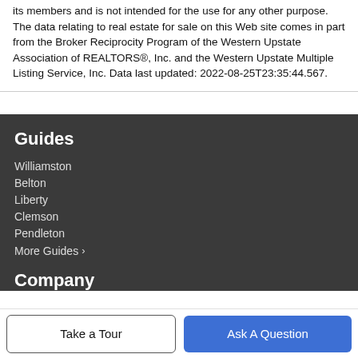its members and is not intended for the use for any other purpose. The data relating to real estate for sale on this Web site comes in part from the Broker Reciprocity Program of the Western Upstate Association of REALTORS®, Inc. and the Western Upstate Multiple Listing Service, Inc. Data last updated: 2022-08-25T23:35:44.567.
Guides
Williamston
Belton
Liberty
Clemson
Pendleton
More Guides >
Company
Take a Tour
Ask A Question